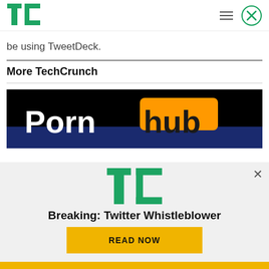TechCrunch
be using TweetDeck.
More TechCrunch
[Figure (photo): Pornhub logo on black background with blue stripe]
[Figure (logo): TechCrunch TC logo in green]
Breaking: Twitter Whistleblower
READ NOW